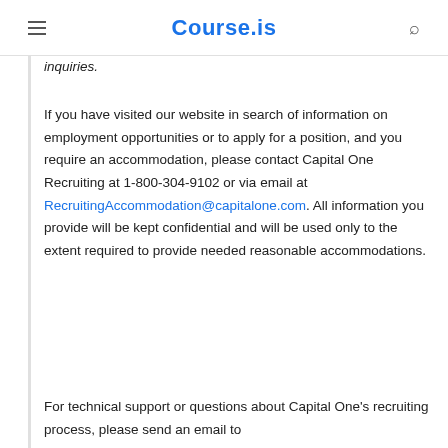Course.is
inquiries.
If you have visited our website in search of information on employment opportunities or to apply for a position, and you require an accommodation, please contact Capital One Recruiting at 1-800-304-9102 or via email at RecruitingAccommodation@capitalone.com. All information you provide will be kept confidential and will be used only to the extent required to provide needed reasonable accommodations.
For technical support or questions about Capital One's recruiting process, please send an email to